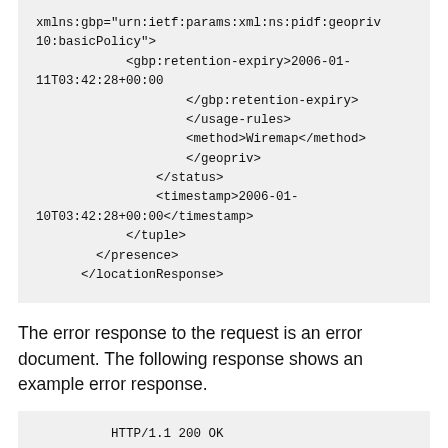xmlns:gbp="urn:ietf:params:xml:ns:pidf:geopriv10:basicPolicy">
            <gbp:retention-expiry>2006-01-11T03:42:28+00:00
                    </gbp:retention-expiry>
                    </usage-rules>
                    <method>Wiremap</method>
                    </geopriv>
                </status>
                <timestamp>2006-01-10T03:42:28+00:00</timestamp>
            </tuple>
        </presence>
      </locationResponse>
The error response to the request is an error document. The following response shows an example error response.
HTTP/1.1 200 OK
Server: Example LIS